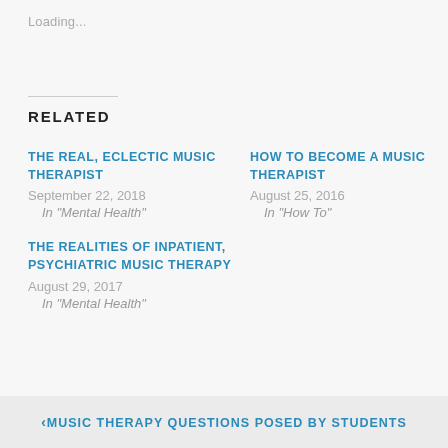Loading...
RELATED
THE REAL, ECLECTIC MUSIC THERAPIST
September 22, 2018
In "Mental Health"
HOW TO BECOME A MUSIC THERAPIST
August 25, 2016
In "How To"
THE REALITIES OF INPATIENT, PSYCHIATRIC MUSIC THERAPY
August 29, 2017
In "Mental Health"
‹ MUSIC THERAPY QUESTIONS POSED BY STUDENTS